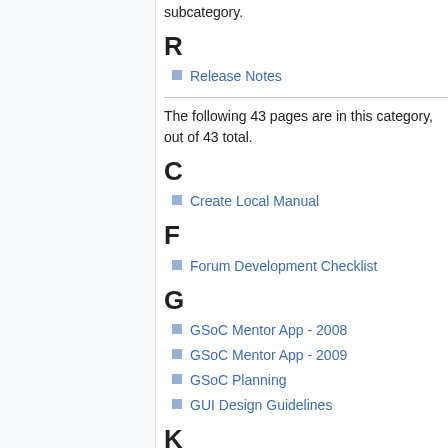subcategory.
R
Release Notes
The following 43 pages are in this category, out of 43 total.
C
Create Local Manual
F
Forum Development Checklist
G
GSoC Mentor App - 2008
GSoC Mentor App - 2009
GSoC Planning
GUI Design Guidelines
K
Known Issues